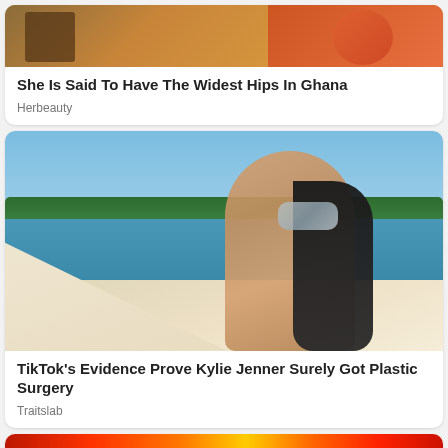[Figure (photo): Top portion of image showing outdoor scene with warm orange/brown tones, partially visible]
She Is Said To Have The Widest Hips In Ghana
Herbeauty
[Figure (photo): Woman in silver bikini posing on a white boat deck with blue water and green trees in background, long dark hair]
TikTok's Evidence Prove Kylie Jenner Surely Got Plastic Surgery
Traitslab
[Figure (photo): Bottom card partially visible with red/orange/yellow fiery background tones]